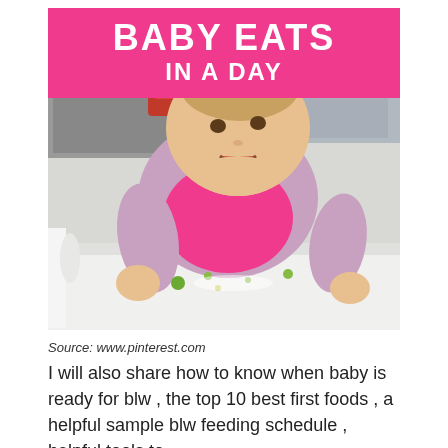BABY EATS IN A DAY
[Figure (photo): Baby in a pink bib sitting at a high chair tray, picking up small food pieces, with a painting visible in the background]
Source: www.pinterest.com
I will also share how to know when baby is ready for blw , the top 10 best first foods , a helpful sample blw feeding schedule , helpful tools to